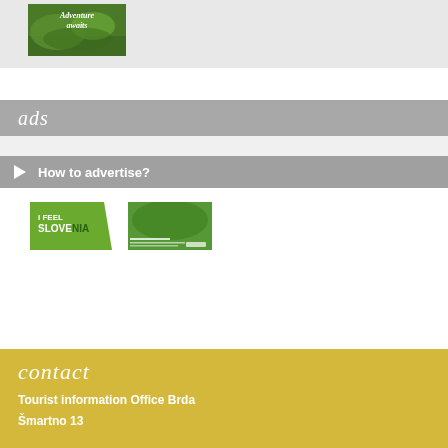[Figure (photo): Small thumbnail image showing green hills/landscape with 'Adventure awaits' text overlay]
ads
How to advertise?
[Figure (logo): I Feel Slovenia green logo with diagonal right edge]
[Figure (photo): Green forest/nature scene with text overlay]
contact
Tourist information Office Brda
Šmartno 13